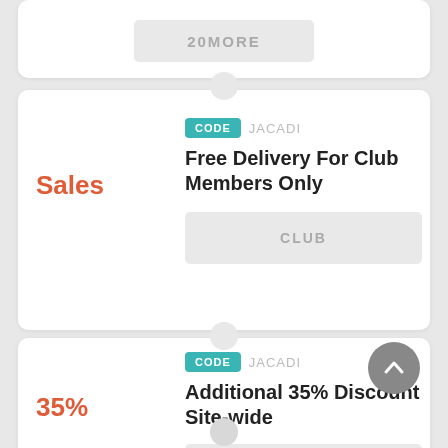20MORE
CODE  JACADI
Free Delivery For Club Members Only
Sales
CLUB
CODE  JACADI
Additional 35% Discount Site-wide
35%
CYBER